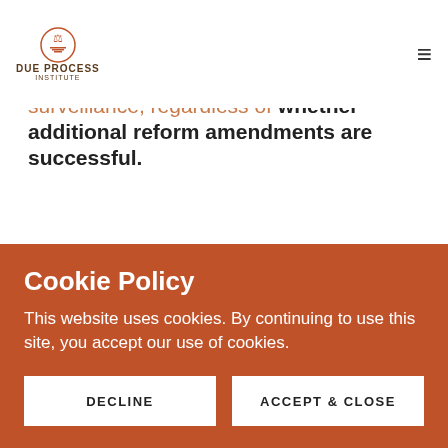DUE PROCESS INSTITUTE
USA FREEDOM Reauthorization Act (H.R. 6172). We URGE a YES vote in support of long overdue reform of FISA surveillance, regardless of whether additional reform amendments are successful.
Two weeks ago, the Senate successfully passed the USA FREEDOM Reauthorization Act (previously passed by the House) with the addition of one important bipartisan amendment improving third-party oversight and input into the Foreign
Cookie Policy
This website uses cookies. By continuing to use this site, you accept our use of cookies.
DECLINE
ACCEPT & CLOSE